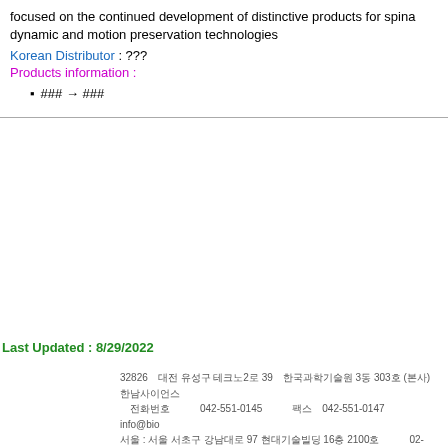focused on the continued development of distinctive products for spinal dynamic and motion preservation technologies
Korean Distributor : ???
Products information :
### → ###
Last Updated : 8/29/2022
32826  대전 유성구 테크노2로 39  한국과학기술원 3동 303호 (본사)  한남사이언스
전화번호  042-551-0145  팩스  042-551-0147  info@bio
서울 : 서울 서초구 강남대로 97 현대기술빌딩 16층 2100호  02-6267-2112  02-6
충북 : 청주 흥덕 가경동로 15 신성남2차아파트 상가동동 3-2호  043-731-0146
Copyright© 1999~  All Rights Reserved by Haanam Science